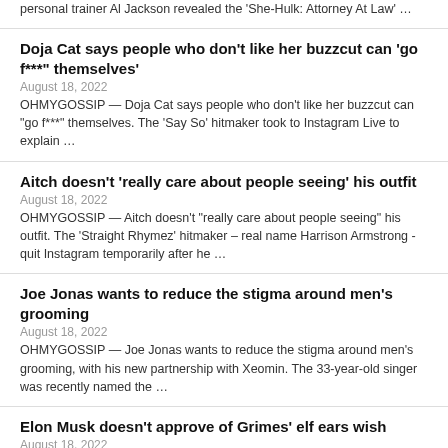personal trainer Al Jackson revealed the ‘She-Hulk: Attorney At Law’ …
Doja Cat says people who don’t like her buzzcut can ‘go f***” themselves’
August 18, 2022
OHMYGOSSIP — Doja Cat says people who don’t like her buzzcut can “go f***” themselves. The ‘Say So’ hitmaker took to Instagram Live to explain …
Aitch doesn’t ‘really care about people seeing’ his outfit
August 18, 2022
OHMYGOSSIP — Aitch doesn’t “really care about people seeing” his outfit. The ‘Straight Rhymez’ hitmaker – real name Harrison Armstrong -quit Instagram temporarily after he …
Joe Jonas wants to reduce the stigma around men’s grooming
August 18, 2022
OHMYGOSSIP — Joe Jonas wants to reduce the stigma around men's grooming, with his new partnership with Xeomin. The 33-year-old singer was recently named the …
Elon Musk doesn’t approve of Grimes’ elf ears wish
August 18, 2022
OHMYGOSSIP — Elon Musk does not approve of Grimes’ wish for elf ears. The 34-year-old musician – who has two children with the 51-year-old business…